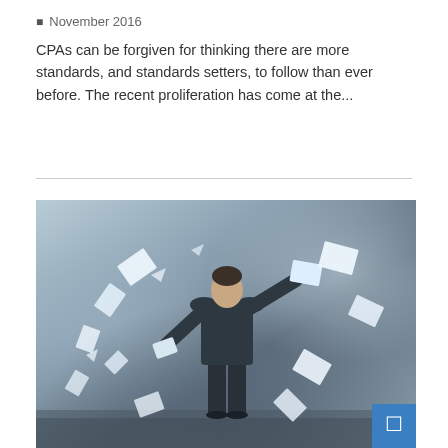November 2016
CPAs can be forgiven for thinking there are more standards, and standards setters, to follow than ever before. The recent proliferation has come at the...
[Figure (photo): Man in business suit seen from behind, holding papers, with multiple documents flying around him in a stormy atmospheric background]